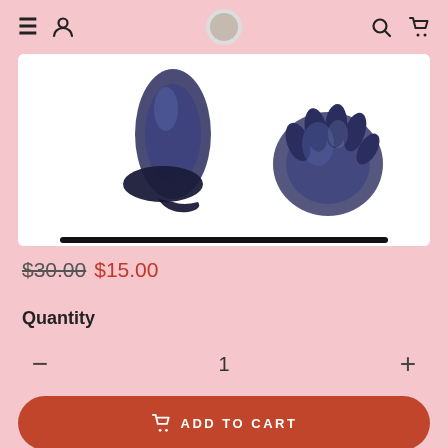Navigation bar with menu, user, logo, search, and cart icons
[Figure (photo): Partial product photo of a 3D Batman foil balloon showing lower body and hands of a Batman figure in metallic blue/black, displayed against white background with a black progress/scroll bar at the bottom]
$30.00 $15.00
Quantity
1
ADD TO CART
3D Large Batman 65x42 cm Foil Balloons Super Hero Birthday Party